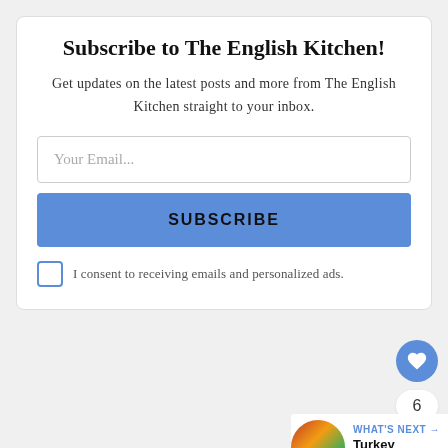Subscribe to The English Kitchen!
Get updates on the latest posts and more from The English Kitchen straight to your inbox.
Your Email...
SUBSCRIBE
I consent to receiving emails and personalized ads.
6
WHAT'S NEXT → Turkey Carcass Soup